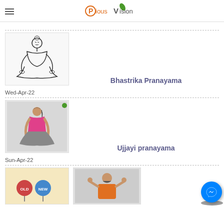Pious Vision (logo)
[Figure (illustration): Line drawing of a woman sitting in lotus meditation pose (Bhastrika Pranayama)]
Bhastrika Pranayama
Wed-Apr-22
[Figure (photo): Photo of a woman in pink top sitting in meditation pose (Ujjayi pranayama)]
Ujjayi pranayama
Sun-Apr-22
[Figure (illustration): Illustration showing OLD vs NEW signs]
[Figure (photo): Photo of a man in orange holding his head]